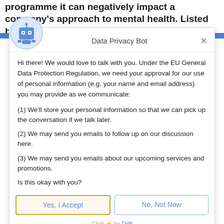programme it can negatively impact a company's approach to mental health. Listed below are a few
[Figure (illustration): Robot/bot avatar icon — circular blue background with a cartoon robot face (two square eyes, antenna on top)]
Data Privacy Bot
Hi there! We would love to talk with you. Under the EU General Data Protection Regulation, we need your approval for our use of personal information (e.g. your name and email address) you may provide as we communicate:
(1) We'll store your personal information so that we can pick up the conversation if we talk later.
(2) We may send you emails to follow up on our discussion here.
(3) We may send you emails about our upcoming services and promotions.
Is this okay with you?
Yes, I Accept
No, Not Now
Chat ⚡ by Drift